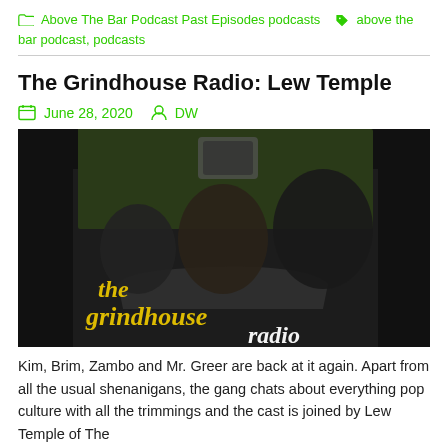Above The Bar Podcast Past Episodes podcasts  above the bar podcast, podcasts
The Grindhouse Radio: Lew Temple
June 28, 2020   DW
[Figure (photo): Promotional photo for The Grindhouse Radio podcast showing three people with a shopping cart, with 'the grindhouse radio' text overlay in yellow and white]
Kim, Brim, Zambo and Mr. Greer are back at it again. Apart from all the usual shenanigans, the gang chats about everything pop culture with all the trimmings and the cast is joined by Lew Temple of The